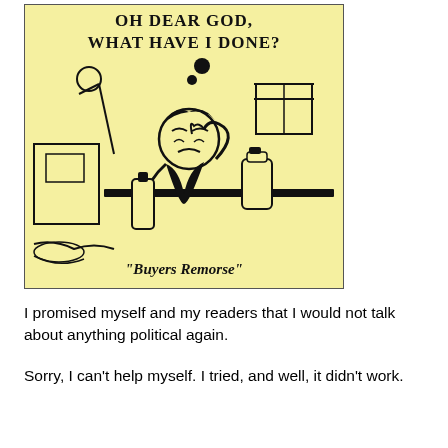[Figure (illustration): A vintage-style comic illustration on a yellow background. It shows a distressed person sitting at a table, holding their head in one hand and a bottle in the other, surrounded by kitchen appliances. Above them is the text 'Oh dear God, what have I done?' with thought bubbles. At the bottom of the illustration is the caption '"Buyers Remorse"'.]
I promised myself and my readers that I would not talk about anything political again.
Sorry, I can't help myself. I tried, and well, it didn't work.